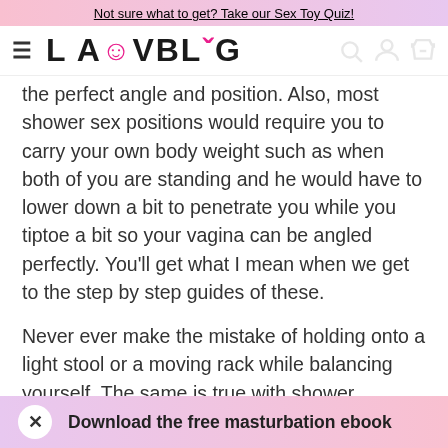Not sure what to get? Take our Sex Toy Quiz!
[Figure (logo): LAUVBLOG logo with pink smiley face and pink speech bubble O]
the perfect angle and position. Also, most shower sex positions would require you to carry your own body weight such as when both of you are standing and he would have to lower down a bit to penetrate you while you tiptoe a bit so your vagina can be angled perfectly. You'll get what I mean when we get to the step by step guides of these.
Never ever make the mistake of holding onto a light stool or a moving rack while balancing yourself. The same is true with shower curtains. They might look attached perfectly to their handles but these things rip easily. You're in the shower to have some fun – not end up in a wheelchair, okay?
Download the free masturbation ebook